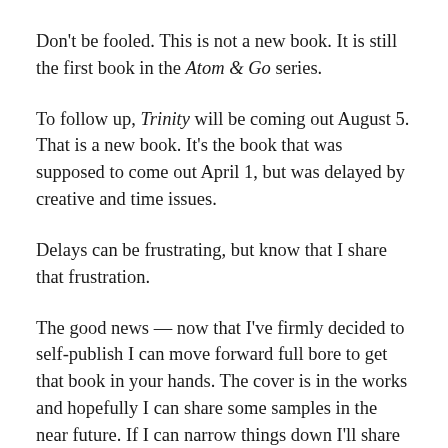Don't be fooled. This is not a new book. It is still the first book in the Atom & Go series.
To follow up, Trinity will be coming out August 5. That is a new book. It's the book that was supposed to come out April 1, but was delayed by creative and time issues.
Delays can be frustrating, but know that I share that frustration.
The good news — now that I've firmly decided to self-publish I can move forward full bore to get that book in your hands. The cover is in the works and hopefully I can share some samples in the near future. If I can narrow things down I'll share some more snippets of the